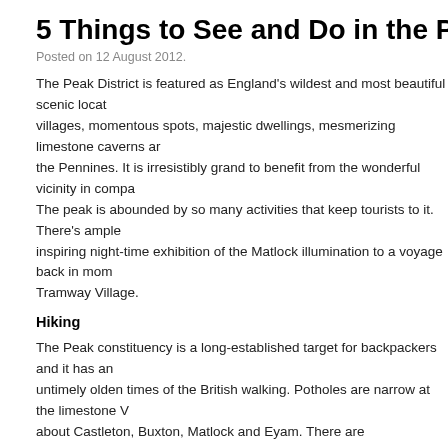5 Things to See and Do in the Peak District
Posted on 12 August 2012.
The Peak District is featured as England's wildest and most beautiful scenic locations, villages, momentous spots, majestic dwellings, mesmerizing limestone caverns and the Pennines. It is irresistibly grand to benefit from the wonderful vicinity in comparison. The peak is abounded by so many activities that keep tourists to it. There's ample inspiring night-time exhibition of the Matlock illumination to a voyage back in moment Tramway Village.
Hiking
The Peak constituency is a long-established target for backpackers and it has an untimely olden times of the British walking. Potholes are narrow at the limestone V about Castleton, Buxton, Matlock and Eyam. There are demonstrative caves in Bu Bath. Several caves are allied with aged mines and are a treat for the inquisitive a
Nature at its Best
This is an expanse of disparity, with the natural habitat moorland, archetypal on fo kind of floral along all sides, the gentle breath of air to the soaring confront of the p verdant path and quiet villages bestows that sensation of fleeting gone from the e a toughened hiker, spare time walker, solemn cyclist or a laid flipside biker the Pe capacity to get dynamic. The moorland walks and the soaring gritstone edges sno invigorating lookers. The thriving footpaths and riverside walks become a draw o